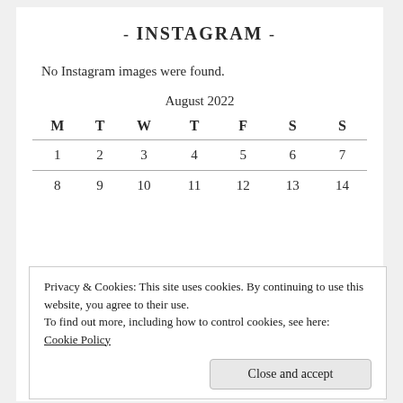- INSTAGRAM -
No Instagram images were found.
| M | T | W | T | F | S | S |
| --- | --- | --- | --- | --- | --- | --- |
| 1 | 2 | 3 | 4 | 5 | 6 | 7 |
| 8 | 9 | 10 | 11 | 12 | 13 | 14 |
Privacy & Cookies: This site uses cookies. By continuing to use this website, you agree to their use.
To find out more, including how to control cookies, see here:
Cookie Policy